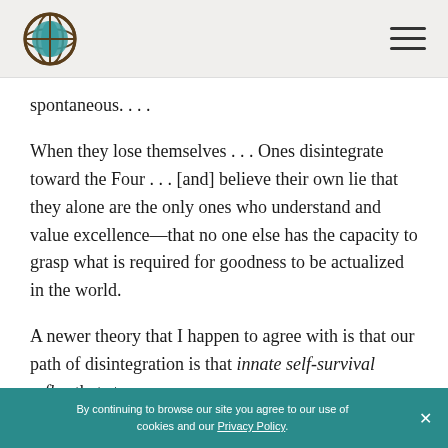[Logo: globe icon] [Hamburger menu]
spontaneous. . . .
When they lose themselves . . . Ones disintegrate toward the Four . . . [and] believe their own lie that they alone are the only ones who understand and value excellence—that no one else has the capacity to grasp what is required for goodness to be actualized in the world.
A newer theory that I happen to agree with is that our path of disintegration is that innate self-survival reflex that stops our
By continuing to browse our site you agree to our use of cookies and our Privacy Policy. ×